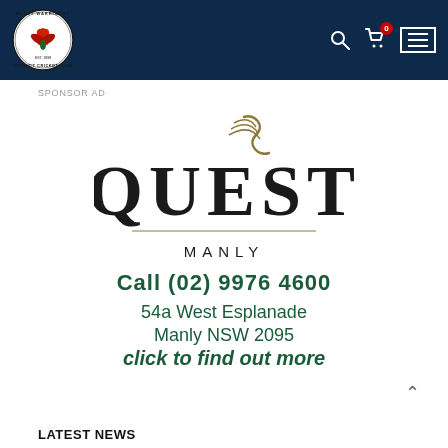[Figure (logo): Manly Warringah District Cricket Club circular logo with flame/flower emblem]
SPONSOR AD
[Figure (logo): Quest Manly hotel sponsor advertisement logo with decorative swoosh graphic, phone number Call (02) 9976 4600, address 54a West Esplanade Manly NSW 2095, and click to find out more text]
LATEST NEWS